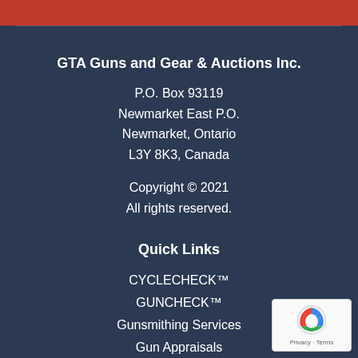[Figure (other): Red horizontal banner bar at the top of the page]
GTA Guns and Gear & Auctions Inc.
P.O. Box 93119
Newmarket East P.O.
Newmarket, Ontario
L3Y 8K3, Canada
Copyright © 2021
All rights reserved.
Quick Links
CYCLECHECK™
GUNCHECK™
Gunsmithing Services
Gun Appraisals
Auction Services
[Figure (other): reCAPTCHA badge with Privacy and Terms links]